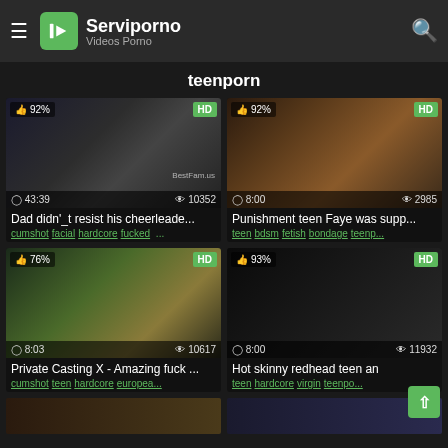Serviporno — Videos Porno
teenporn
[Figure (screenshot): Video thumbnail 1: dark scene, 92% rating, HD badge, 43:39 duration, 10352 views, watermark BestFam.us]
Dad didn'_t resist his cheerleade...
cumshot facial hardcore fucked ...
[Figure (screenshot): Video thumbnail 2: interior van scene, 92% rating, HD badge, 8:00 duration, 2985 views]
Punishment teen Faye was supp...
teen bdsm fetish bondage teenp...
[Figure (screenshot): Video thumbnail 3: indoor/mirror scene, 76% rating, HD badge, 8:03 duration, 10617 views]
Private Casting X - Amazing fuck ...
cumshot teen hardcore europea...
[Figure (screenshot): Video thumbnail 4: dark scene, 93% rating, HD badge, 8:00 duration, 11932 views]
Hot skinny redhead teen an
teen hardcore virgin teenpo...